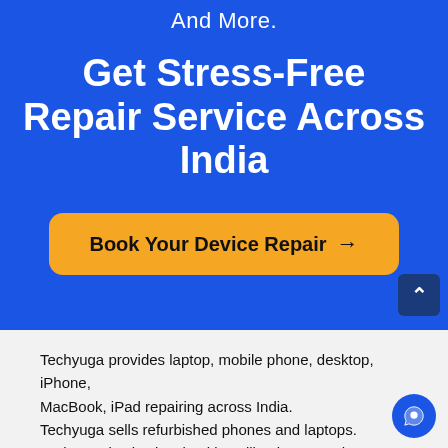And More.
Get Stress-Free Repair Service Across India
Book Your Device Repair →
Techyuga provides laptop, mobile phone, desktop, iPhone, MacBook, iPad repairing across India.
Techyuga sells refurbished phones and laptops.
Techyuga is also involved in selling laptops, phone, iPhone